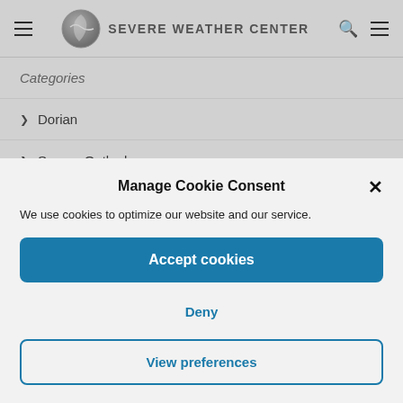SEVERE WEATHER CENTER
Categories
> Dorian
> Severe Outlook
Manage Cookie Consent
We use cookies to optimize our website and our service.
Accept cookies
Deny
View preferences